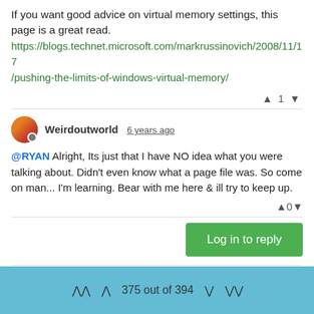If you want good advice on virtual memory settings, this page is a great read.
https://blogs.technet.microsoft.com/markrussinovich/2008/11/17/pushing-the-limits-of-windows-virtual-memory/
▲ 1 ▼
Weirdoutworld 6 years ago
@RYAN Alright, Its just that I have NO idea what you were talking about. Didn't even know what a page file was. So come on man... I'm learning. Bear with me here & ill try to keep up.
▲ 0 ▼
Log in to reply
15 / 16
375 out of 394